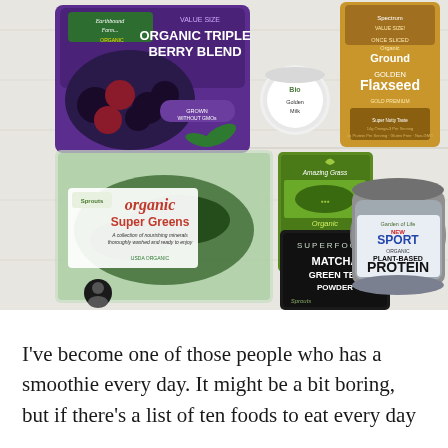[Figure (photo): Overhead flat-lay photo on white wood surface showing smoothie ingredients: Earthbound Farm Organic Triple Berry Blend frozen bag, a small Bio Golden Milk container, Spectrum Organic Ground Flaxseed bag, Sprouts Organic Super Greens salad container, Amazing Grass Organic Supergreens Powder bag, Sprouts Superfoods Matcha Green Tea Powder pouch, and Garden of Life Sport Organic Plant-Based Protein (vanilla) tub. A user avatar icon is visible in the bottom-left corner.]
I've become one of those people who has a smoothie every day. It might be a bit boring, but if there's a list of ten foods to eat every day